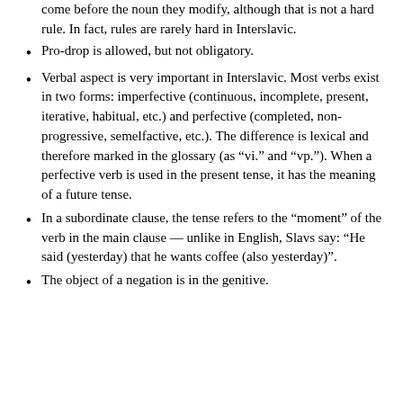come before the noun they modify, although that is not a hard rule. In fact, rules are rarely hard in Interslavic.
Pro-drop is allowed, but not obligatory.
Verbal aspect is very important in Interslavic. Most verbs exist in two forms: imperfective (continuous, incomplete, present, iterative, habitual, etc.) and perfective (completed, non-progressive, semelfactive, etc.). The difference is lexical and therefore marked in the glossary (as “vi.” and “vp.”). When a perfective verb is used in the present tense, it has the meaning of a future tense.
In a subordinate clause, the tense refers to the “moment” of the verb in the main clause — unlike in English, Slavs say: “He said (yesterday) that he wants coffee (also yesterday)”.
The object of a negation is in the genitive.